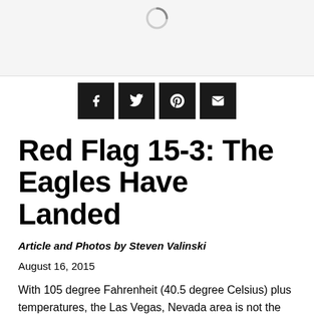[Figure (other): Loading spinner icon on a light gray background, indicating an image is loading]
[Figure (other): Social share buttons: Facebook (f), Twitter (bird), Pinterest (p), Email (envelope) — black square icons in a row]
Red Flag 15-3: The Eagles Have Landed
Article and Photos by Steven Valinski
August 16, 2015
With 105 degree Fahrenheit (40.5 degree Celsius) plus temperatures, the Las Vegas, Nevada area is not the ideal location to visit in mid-July. The hot midday sun and arid conditions are enough to leave a person longing for a pool of ice water to dive into.